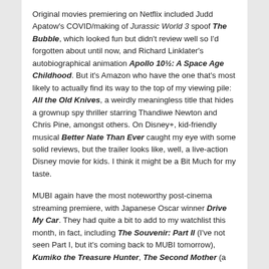Original movies premiering on Netflix included Judd Apatow's COVID/making of Jurassic World 3 spoof The Bubble, which looked fun but didn't review well so I'd forgotten about until now, and Richard Linklater's autobiographical animation Apollo 10½: A Space Age Childhood. But it's Amazon who have the one that's most likely to actually find its way to the top of my viewing pile: All the Old Knives, a weirdly meaningless title that hides a grownup spy thriller starring Thandiwe Newton and Chris Pine, amongst others. On Disney+, kid-friendly musical Better Nate Than Ever caught my eye with some solid reviews, but the trailer looks like, well, a live-action Disney movie for kids. I think it might be a Bit Much for my taste.
MUBI again have the most noteworthy post-cinema streaming premiere, with Japanese Oscar winner Drive My Car. They had quite a bit to add to my watchlist this month, in fact, including The Souvenir: Part II (I've not seen Part I, but it's coming back to MUBI tomorrow), Kumiko the Treasure Hunter, The Second Mother (a